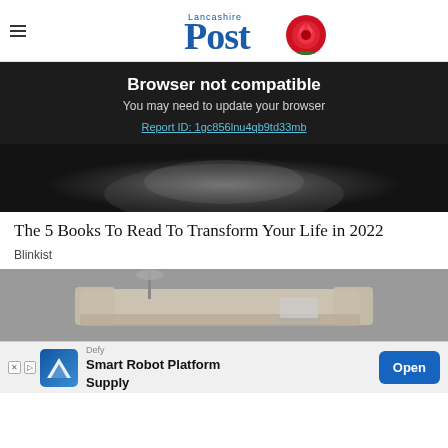Lancashire Post
[Figure (other): Browser not compatible error banner on dark background with text: Browser not compatible. You may need to update your browser. Report ID: 1gc856lnu4qb9td33mb]
[Figure (photo): Black and white close-up photo of a bearded man's face]
The 5 Books To Read To Transform Your Life in 2022
Blinkist
[Figure (photo): Partial view of a beige sofa/couch in a grey background]
[Figure (other): Advertisement banner: Defy Smart Robot Platform Supply with Open button]